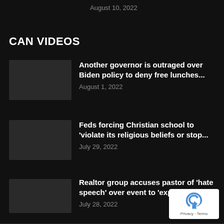August 10, 2022
CAN VIDEOS
Another governor is outraged over Biden policy to deny free lunches...
August 1, 2022
Feds forcing Christian school to 'violate its religious beliefs or stop...
July 29, 2022
Realtor group accuses pastor of 'hate speech' over event to 'expose...
July 28, 2022
[Figure (logo): reCAPTCHA badge with recycling-style arrow logo and Privacy - Terms text]